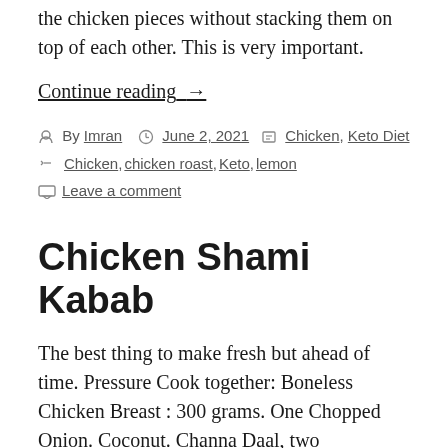the chicken pieces without stacking them on top of each other. This is very important.
Continue reading →
By Imran  June 2, 2021  Chicken, Keto Diet  Chicken, chicken roast, Keto, lemon  Leave a comment
Chicken Shami Kabab
The best thing to make fresh but ahead of time. Pressure Cook together: Boneless Chicken Breast : 300 grams. One Chopped Onion. Coconut. Channa Daal, two tablespoons, soaked for sometime in